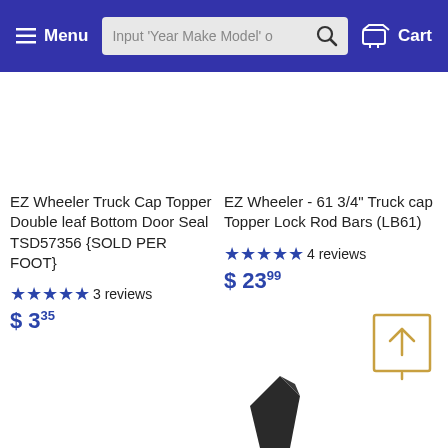Menu | Input 'Year Make Model' o [search] | Cart
EZ Wheeler Truck Cap Topper Double leaf Bottom Door Seal TSD57356 {SOLD PER FOOT}
★★★★★ 3 reviews
$ 3.35
EZ Wheeler - 61 3/4" Truck cap Topper Lock Rod Bars (LB61)
★★★★★ 4 reviews
$ 23.99
[Figure (screenshot): Back-to-top button icon with upward arrow inside a square border, gold/amber color]
[Figure (photo): Partial image of a black truck cap product at bottom of page]